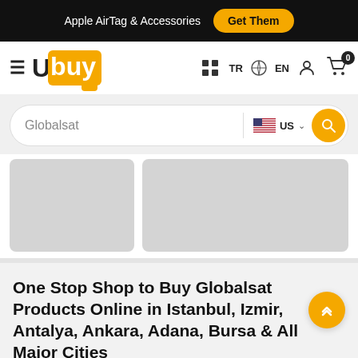Apple AirTag & Accessories  Get Them
[Figure (logo): Ubuy logo - hamburger menu icon followed by U and orange 'buy' text]
TR  EN  (user icon)  (cart 0)
Globalsat  US  (search button)
[Figure (photo): Two grey placeholder product card images]
One Stop Shop to Buy Globalsat Products Online in Istanbul, Izmir, Antalya, Ankara, Adana, Bursa & All Major Cities
If you are looking for all the best international brands and genuine quality global products, your search ends here. Most